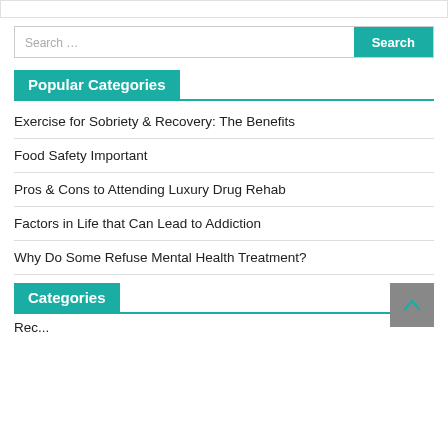Popular Categories
Exercise for Sobriety & Recovery: The Benefits
Food Safety Important
Pros & Cons to Attending Luxury Drug Rehab
Factors in Life that Can Lead to Addiction
Why Do Some Refuse Mental Health Treatment?
Categories